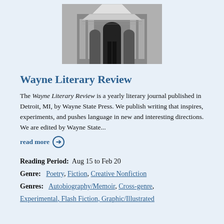[Figure (photo): Black and white photo of a classical stone building facade with arched windows and columns]
Wayne Literary Review
The Wayne Literary Review is a yearly literary journal published in Detroit, MI, by Wayne State Press. We publish writing that inspires, experiments, and pushes language in new and interesting directions. We are edited by Wayne State... read more →
Reading Period:  Aug 15 to Feb 20
Genre:  Poetry, Fiction, Creative Nonfiction
Genres:  Autobiography/Memoir, Cross-genre, Experimental, Flash Fiction, Graphic/Illustrated